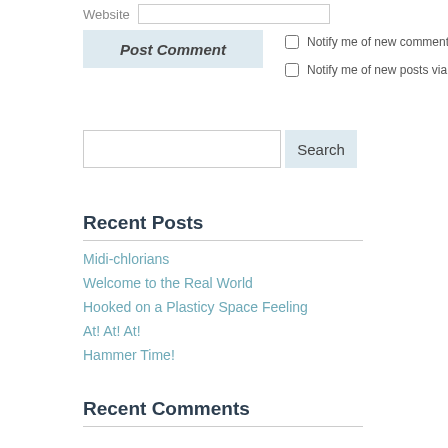Website
Post Comment
Notify me of new comments via email.
Notify me of new posts via email.
Recent Posts
Midi-chlorians
Welcome to the Real World
Hooked on a Plasticy Space Feeling
At! At! At!
Hammer Time!
Recent Comments